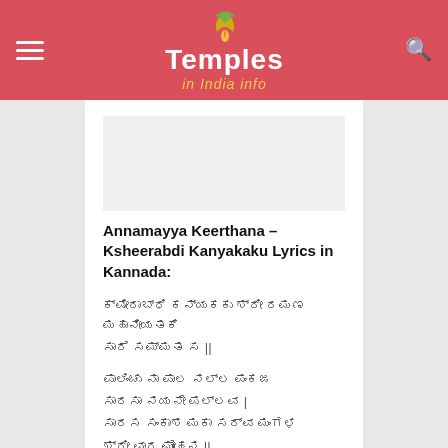Temples in India info
Annamayya Keerthana – Ksheerabdi Kanyakaku Lyrics in Kannada:
ಕ್ಷೀರಾಬ್ಧಿ ಕನ್ಯಕಕು ಶ್ರೀ ರಮಣ ಮಹಾನೀಯತಕಿ
ಸಾರೆ ಸಮ್ಮತ ಸ ||
ಪಾಲಿಂಚು ನಾ ಪಾಲ ನಲ್ಲ ಪಂಕಜ
ಸಾರಸಾ ನಯನೇ ಪಲ್ಲವ |
ಸಾರಸ ಸಂಕಾಶ ಮಕಾ ಸರ್ವ ಮಂಗಳ
ಶ್ರೀ ವಾರ ಮೋಹನ ||
ಆಡ ಸತ್ತಾರ ಶ್ರೀಮ ಮಹಾಲಕ್ಷ್ಮಿ